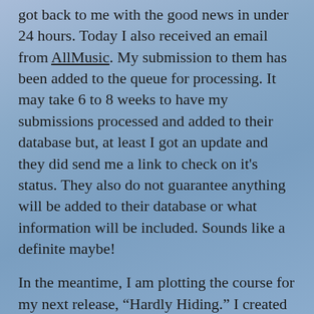got back to me with the good news in under 24 hours. Today I also received an email from AllMusic. My submission to them has been added to the queue for processing. It may take 6 to 8 weeks to have my submissions processed and added to their database but, at least I got an update and they did send me a link to check on it's status. They also do not guarantee anything will be added to their database or what information will be included. Sounds like a definite maybe!
In the meantime, I am plotting the course for my next release, “Hardly Hiding.” I created an Audio Visualizer in Apple’s Motion software, with the help of this video on YouTube “How to Make An Audio Visualizer in Motion 5” from The Final Cut